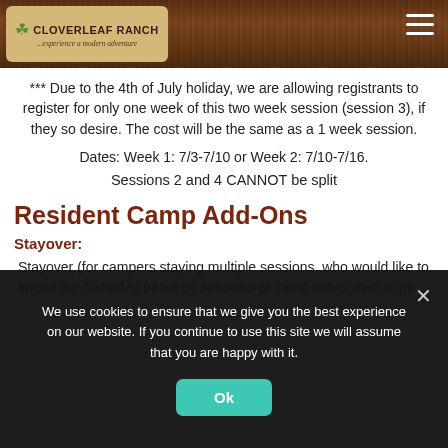CLOVERLEAF RANCH ...experience a modern adventure
*** Due to the 4th of July holiday, we are allowing registrants to register for only one week of this two week session (session 3), if they so desire. The cost will be the same as a 1 week session.
Dates: Week 1: 7/3-7/10 or Week 2: 7/10-7/16.
Sessions 2 and 4 CANNOT be split
Resident Camp Add-Ons
Stayover:
Stayover (for campers staying multiple sessions, who would like to spend the Saturday between sessions at camp rather than to go
We use cookies to ensure that we give you the best experience on our website. If you continue to use this site we will assume that you are happy with it.